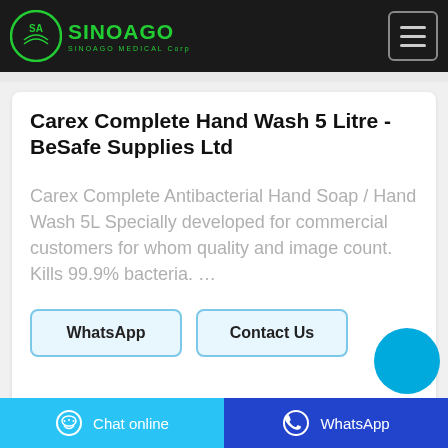SinoAgo Medical Corp
Carex Complete Hand Wash 5 Litre - BeSafe Supplies Ltd
Carex Complete Antibacterial Hand Soap / Hand Wash 5L Specially developed for commercial customers for whom quality and image count. Kills 99.9% bacteria. …
WhatsApp | Contact Us
Chat online | WhatsApp